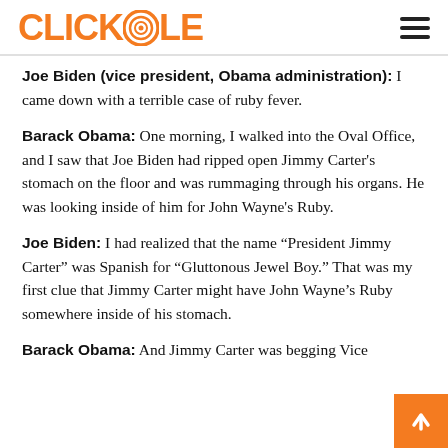CLICKHOLE
Joe Biden (vice president, Obama administration): I came down with a terrible case of ruby fever.
Barack Obama: One morning, I walked into the Oval Office, and I saw that Joe Biden had ripped open Jimmy Carter's stomach on the floor and was rummaging through his organs. He was looking inside of him for John Wayne's Ruby.
Joe Biden: I had realized that the name “President Jimmy Carter” was Spanish for “Gluttonous Jewel Boy.” That was my first clue that Jimmy Carter might have John Wayne’s Ruby somewhere inside of his stomach.
Barack Obama: And Jimmy Carter was begging Vice